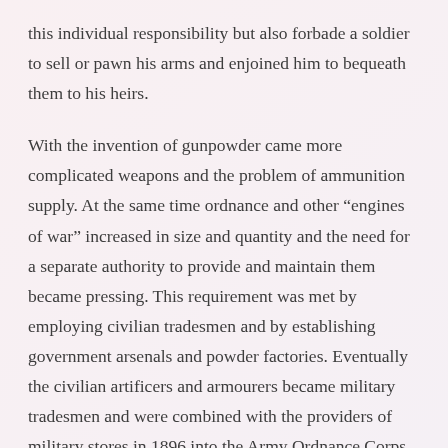this individual responsibility but also forbade a soldier to sell or pawn his arms and enjoined him to bequeath them to his heirs.
With the invention of gunpowder came more complicated weapons and the problem of ammunition supply. At the same time ordnance and other “engines of war” increased in size and quantity and the need for a separate authority to provide and maintain them became pressing. This requirement was met by employing civilian tradesmen and by establishing government arsenals and powder factories. Eventually the civilian artificers and armourers became military tradesmen and were combined with the providers of military stores in 1896 into the Army Ordnance Corps.